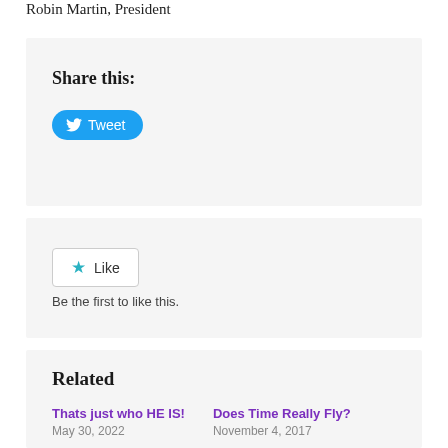Robin Martin, President
Share this:
[Figure (other): Tweet button with Twitter bird icon on blue rounded background]
[Figure (other): Like button with teal star icon, border, white background, and 'Be the first to like this.' caption]
Related
Thats just who HE IS!
May 30, 2022
Does Time Really Fly?
November 4, 2017